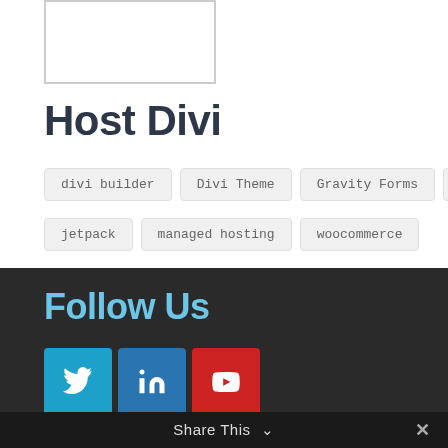[Figure (other): White rectangle placeholder image with border]
Host Divi
divi builder
Divi Theme
Gravity Forms
ithemes
jetpack
managed hosting
woocommerce
Follow Us
[Figure (logo): Twitter bird icon button (blue)]
[Figure (logo): LinkedIn 'in' icon button (dark blue)]
[Figure (logo): YouTube play icon button (red)]
Share This ∨  ✕